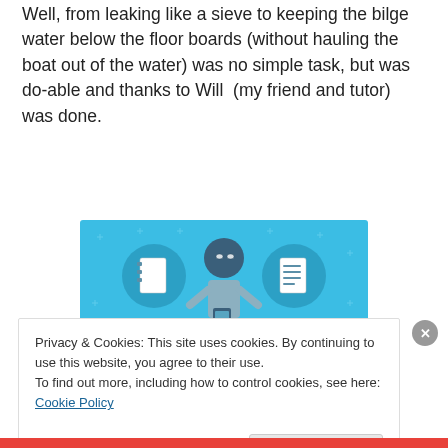Well, from leaking like a sieve to keeping the bilge water below the floor boards (without hauling the boat out of the water) was no simple task, but was do-able and thanks to Will  (my friend and tutor) was done.
[Figure (illustration): Day One app advertisement on light blue background showing illustrated figure holding a phone with notebook icons on either side, text reads 'DAY ONE - The only journaling app you'll ever need.']
Privacy & Cookies: This site uses cookies. By continuing to use this website, you agree to their use.
To find out more, including how to control cookies, see here: Cookie Policy